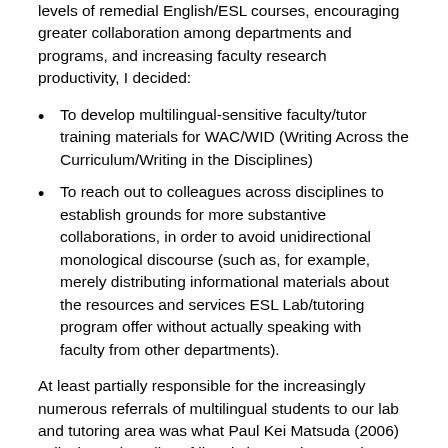levels of remedial English/ESL courses, encouraging greater collaboration among departments and programs, and increasing faculty research productivity, I decided:
To develop multilingual-sensitive faculty/tutor training materials for WAC/WID (Writing Across the Curriculum/Writing in the Disciplines)
To reach out to colleagues across disciplines to establish grounds for more substantive collaborations, in order to avoid unidirectional monological discourse (such as, for example, merely distributing informational materials about the resources and services ESL Lab/tutoring program offer without actually speaking with faculty from other departments).
At least partially responsible for the increasingly numerous referrals of multilingual students to our lab and tutoring area was what Paul Kei Matsuda (2006) calls the tacit “policy of linguistic containment” that prevails in many universities and